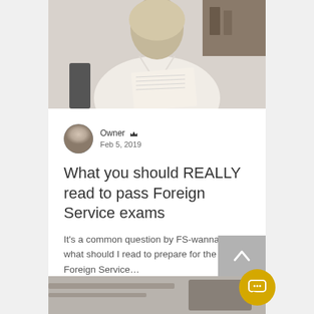[Figure (photo): A woman in a white blouse sitting and holding documents, photographed from the torso up in an office setting]
Owner  Feb 5, 2019
What you should REALLY read to pass Foreign Service exams
It's a common question by FS-wannabes: what should I read to prepare for the Foreign Service...
[Figure (photo): Bottom partial photo, appears to show a desk or workspace]